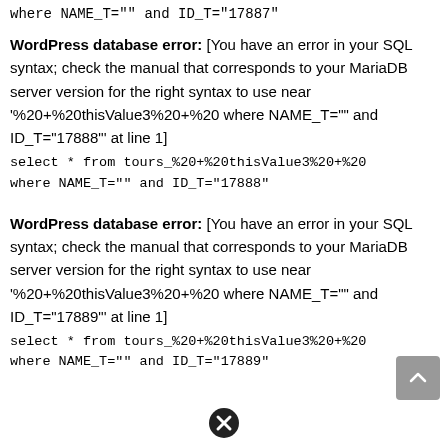where NAME_T="" and ID_T="17887"
WordPress database error: [You have an error in your SQL syntax; check the manual that corresponds to your MariaDB server version for the right syntax to use near '%20+%20thisValue3%20+%20 where NAME_T="" and ID_T="17888"' at line 1]
select * from tours_%20+%20thisValue3%20+%20 where NAME_T="" and ID_T="17888"
WordPress database error: [You have an error in your SQL syntax; check the manual that corresponds to your MariaDB server version for the right syntax to use near '%20+%20thisValue3%20+%20 where NAME_T="" and ID_T="17889"' at line 1]
select * from tours_%20+%20thisValue3%20+%20 where NAME_T="" and ID_T="17889"